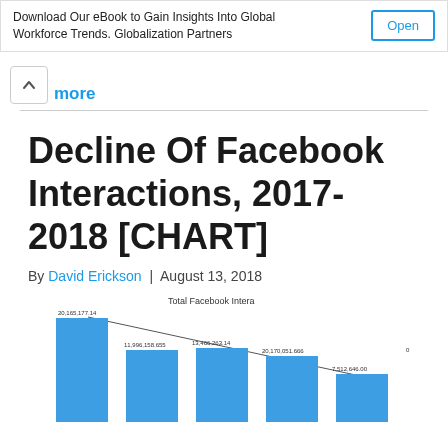Download Our eBook to Gain Insights Into Global Workforce Trends. Globalization Partners | Open
more
Decline Of Facebook Interactions, 2017-2018 [CHART]
By David Erickson | August 13, 2018
[Figure (bar-chart): Partially visible bar chart showing declining Facebook interactions from 2017 to 2018, with 5 bars decreasing in height left to right. Values visible: 20,165,177.14 (tallest), 11,996,158.655, 13,466,263.14, 20,170,051.666, 7,512,646.00]